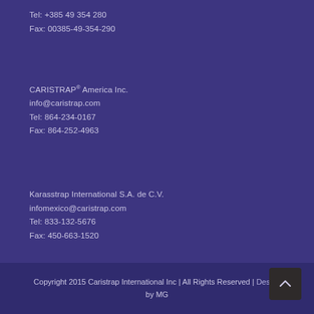Tel: +385 49 354 280
Fax: 00385-49-354-290
CARISTRAP® America Inc.
info@caristrap.com
Tel: 864-234-0167
Fax: 864-252-4963
Karasstrap International S.A. de C.V.
infomexico@caristrap.com
Tel: 833-132-5676
Fax: 450-663-1520
Copyright 2015 Caristrap International Inc | All Rights Reserved | Design by MG